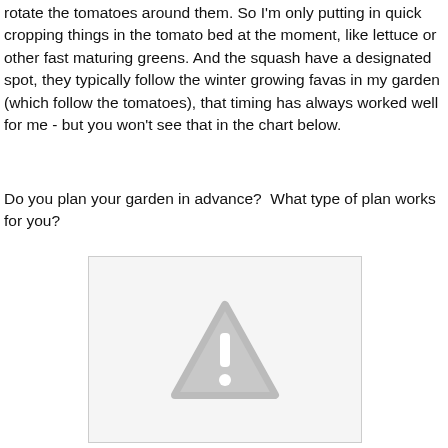rotate the tomatoes around them. So I'm only putting in quick cropping things in the tomato bed at the moment, like lettuce or other fast maturing greens. And the squash have a designated spot, they typically follow the winter growing favas in my garden (which follow the tomatoes), that timing has always worked well for me - but you won't see that in the chart below.
Do you plan your garden in advance?  What type of plan works for you?
[Figure (other): Placeholder image with a warning/error triangle icon indicating a missing or broken image.]